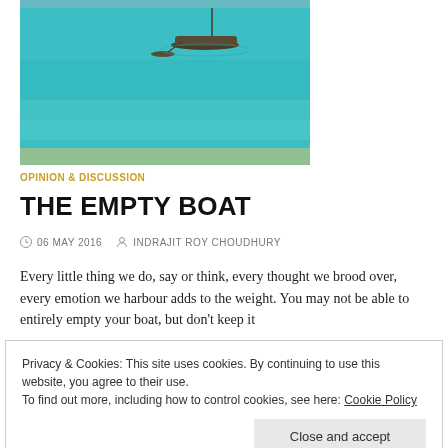[Figure (photo): A wooden boat floating on clear turquoise ocean water near a sandy shoreline.]
OPINION & DISCUSSION
THE EMPTY BOAT
06 MAY 2016   INDRAJIT ROY CHOUDHURY
Every little thing we do, say or think, every thought we brood over, every emotion we harbour adds to the weight. You may not be able to entirely empty your boat, but don't keep it
Privacy & Cookies: This site uses cookies. By continuing to use this website, you agree to their use.
To find out more, including how to control cookies, see here: Cookie Policy